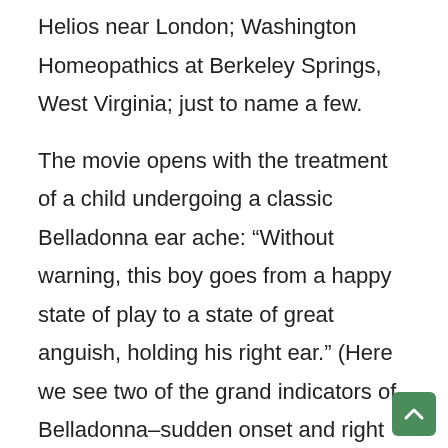Helios near London; Washington Homeopathics at Berkeley Springs, West Virginia; just to name a few.
The movie opens with the treatment of a child undergoing a classic Belladonna ear ache: “Without warning, this boy goes from a happy state of play to a state of great anguish, holding his right ear.” (Here we see two of the grand indicators of Belladonna–sudden onset and right side